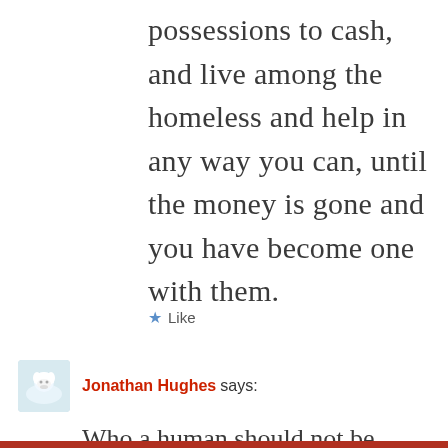possessions to cash, and live among the homeless and help in any way you can, until the money is gone and you have become one with them.
★ Like
Jonathan Hughes says:
Who a human should not be divorced from is Jesus. Humans not being like Jesus